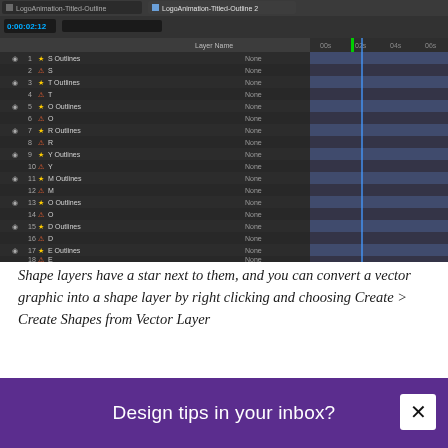[Figure (screenshot): Adobe After Effects timeline panel showing LogoAnimation-Titled-Outline composition with 18 layers including S Outlines, S, T Outlines, T, O Outlines, O, R Outlines, R, Y Outlines, Y, M Outlines, M, O Outlines, O, D Outlines, D, E Outlines, E. Shape layers are marked with a star icon.]
Shape layers have a star next to them, and you can convert a vector graphic into a shape layer by right clicking and choosing Create > Create Shapes from Vector Layer
First, you need to work with the shape layer...
Design tips in your inbox?